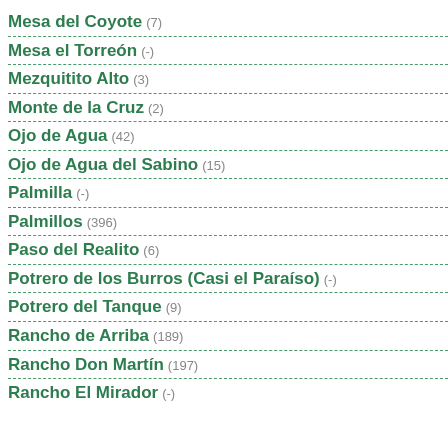Mesa del Coyote (7)
Mesa el Torreón (-)
Mezquitito Alto (3)
Monte de la Cruz (2)
Ojo de Agua (42)
Ojo de Agua del Sabino (15)
Palmilla (-)
Palmillos (396)
Paso del Realito (6)
Potrero de los Burros (Casi el Paraíso) (-)
Potrero del Tanque (9)
Rancho de Arriba (189)
Rancho Don Martín (197)
Rancho El Mirador (-)